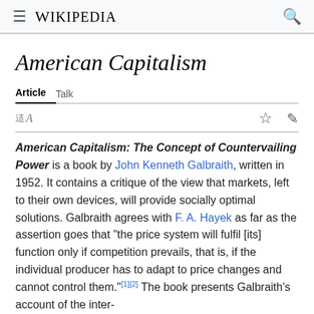≡  WIKIPEDIA  🔍
American Capitalism
Article   Talk
American Capitalism: The Concept of Countervailing Power is a book by John Kenneth Galbraith, written in 1952. It contains a critique of the view that markets, left to their own devices, will provide socially optimal solutions. Galbraith agrees with F. A. Hayek as far as the assertion goes that "the price system will fulfil [its] function only if competition prevails, that is, if the individual producer has to adapt to price changes and cannot control them."[1][2] The book presents Galbraith's account of the inter-